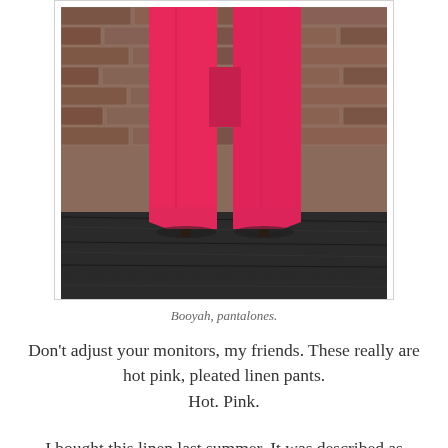[Figure (photo): A person wearing wide-leg hot pink/coral linen pants and dark brown heels, standing in front of a brick wall on a dark wooden floor. Only the lower body from the waist down is visible.]
Booyah, pantalones.
Don't adjust your monitors, my friends.  These really are hot pink, pleated linen pants.
Hot. Pink.
I bought this linen last summer.  It was described as "coral" when I ordered it online.   I was a little shocked when it came.  Not that I don't like hot pink, but it just wasn't what I